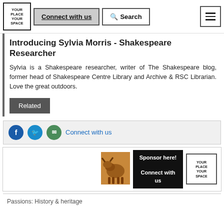YOUR PLACE YOUR SPACE | Connect with us | Search
Introducing Sylvia Morris - Shakespeare Researcher
Sylvia is a Shakespeare researcher, writer of The Shakespeare blog, former head of Shakespeare Centre Library and Archive & RSC Librarian. Love the great outdoors.
Related
Connect with us
[Figure (photo): Bronze sculpture of a bull or animal figure]
Sponsor here! Connect with us
[Figure (logo): YOUR PLACE YOUR SPACE logo box]
Passions: History & heritage